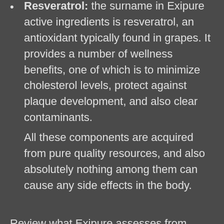Resveratrol: the surname in Exipure active ingredients is resveratrol, an antioxidant typically found in grapes. It provides a number of wellness benefits, one of which is to minimize cholesterol levels, protect against plaque development, and also clear contaminants.
All these components are acquired from pure quality resources, and also absolutely nothing among them can cause any side effects in the body.
Review what Exipure assesses from clients and also their stunning revelations need to state concerning this supplement. Exipure Original Is it really worth spending money on? Have a look at